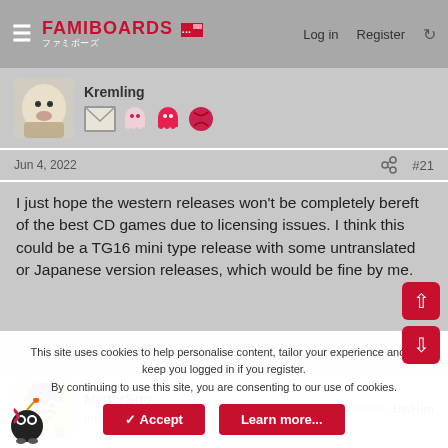FAMIBOARDS  Log in  Register
Kremling
Jun 4, 2022  #21
I just hope the western releases won't be completely bereft of the best CD games due to licensing issues. I think this could be a TG16 mini type release with some untranslated or Japanese version releases, which would be fine by me.
MisterSpo  Inkling  Founder  Pronouns: He/Him
This site uses cookies to help personalise content, tailor your experience and to keep you logged in if you register.
By continuing to use this site, you are consenting to our use of cookies.